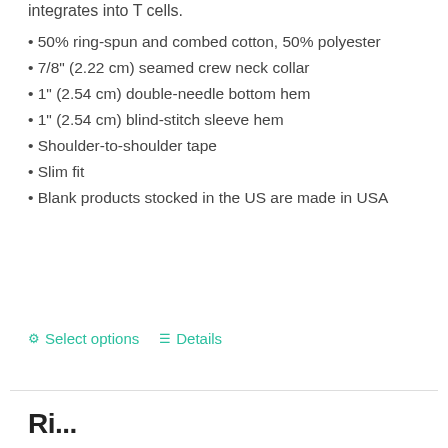integrates into T cells.
• 50% ring-spun and combed cotton, 50% polyester
• 7/8" (2.22 cm) seamed crew neck collar
• 1" (2.54 cm) double-needle bottom hem
• 1" (2.54 cm) blind-stitch sleeve hem
• Shoulder-to-shoulder tape
• Slim fit
• Blank products stocked in the US are made in USA
Select options   Details
Next Up: Ri...